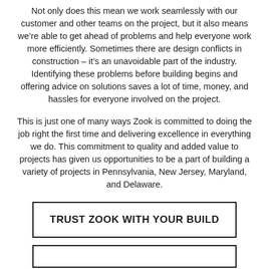Not only does this mean we work seamlessly with our customer and other teams on the project, but it also means we're able to get ahead of problems and help everyone work more efficiently. Sometimes there are design conflicts in construction – it's an unavoidable part of the industry. Identifying these problems before building begins and offering advice on solutions saves a lot of time, money, and hassles for everyone involved on the project.
This is just one of many ways Zook is committed to doing the job right the first time and delivering excellence in everything we do. This commitment to quality and added value to projects has given us opportunities to be a part of building a variety of projects in Pennsylvania, New Jersey, Maryland, and Delaware.
TRUST ZOOK WITH YOUR BUILD